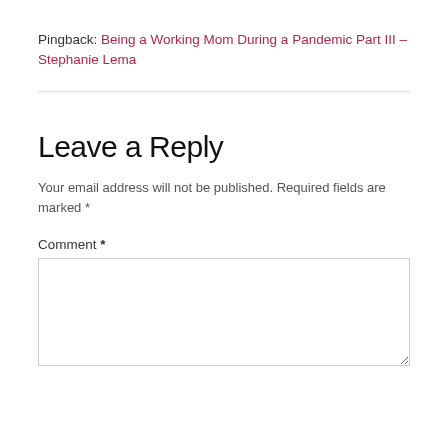Pingback: Being a Working Mom During a Pandemic Part III – Stephanie Lema
Leave a Reply
Your email address will not be published. Required fields are marked *
Comment *